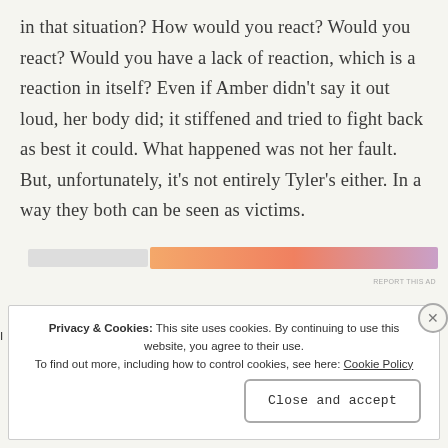in that situation? How would you react? Would you react? Would you have a lack of reaction, which is a reaction in itself? Even if Amber didn't say it out loud, her body did; it stiffened and tried to fight back as best it could. What happened was not her fault. But, unfortunately, it's not entirely Tyler's either. In a way they both can be seen as victims.
[Figure (other): A horizontal advertisement banner with a gradient from orange to light purple/lavender, with a grey placeholder section on the left. Small 'REPORT THIS AD' text below on the right.]
Privacy & Cookies: This site uses cookies. By continuing to use this website, you agree to their use.
To find out more, including how to control cookies, see here: Cookie Policy
Close and accept